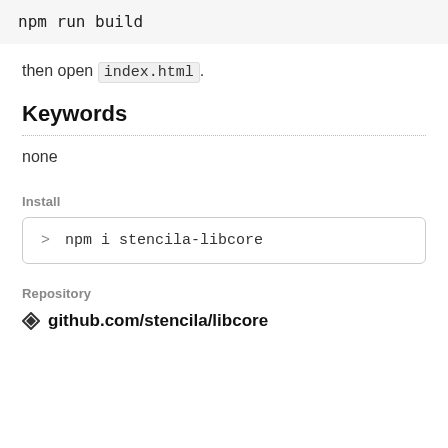npm run build
then open index.html.
Keywords
none
Install
> npm i stencila-libcore
Repository
github.com/stencila/libcore